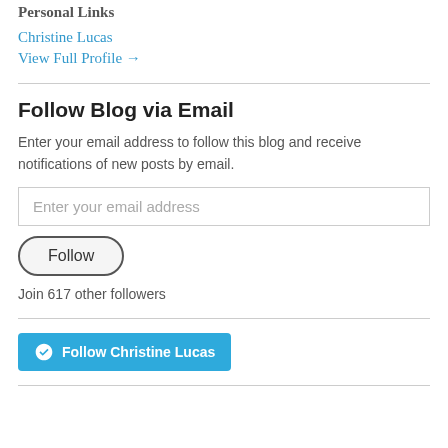Personal Links
Christine Lucas
View Full Profile →
Follow Blog via Email
Enter your email address to follow this blog and receive notifications of new posts by email.
Enter your email address
Follow
Join 617 other followers
Follow Christine Lucas